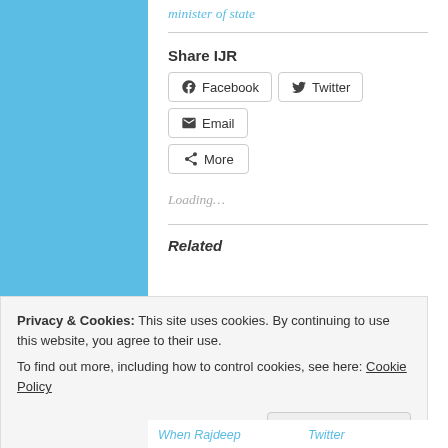minister of state
Share IJR
Facebook  Twitter  Email  More
Loading...
Related
Privacy & Cookies: This site uses cookies. By continuing to use this website, you agree to their use.
To find out more, including how to control cookies, see here: Cookie Policy
Close and accept
When Rajdeep  Twitter